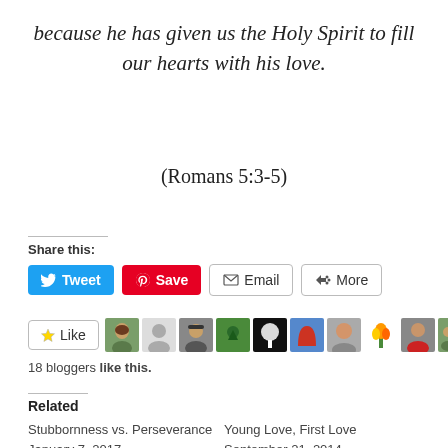because he has given us the Holy Spirit to fill our hearts with his love.
(Romans 5:3-5)
Share this:
[Figure (screenshot): Social share buttons: Tweet (blue), Save (red/Pinterest), Email (outlined), More (outlined)]
[Figure (screenshot): Like button with star icon and row of 10 blogger avatar thumbnails]
18 bloggers like this.
Related
Stubbornness vs. Perseverance
January 7, 2017
In "Photography"
Young Love, First Love
September 21, 2014
In "change"